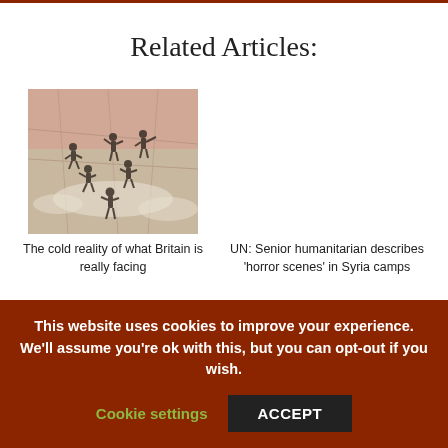Related Articles:
[Figure (photo): Soldiers or military figures on a map background, monochrome with pink/red tones]
The cold reality of what Britain is really facing
UN: Senior humanitarian describes ‘horror scenes’ in Syria camps
This website uses cookies to improve your experience. We’ll assume you’re ok with this, but you can opt-out if you wish.
Cookie settings
ACCEPT